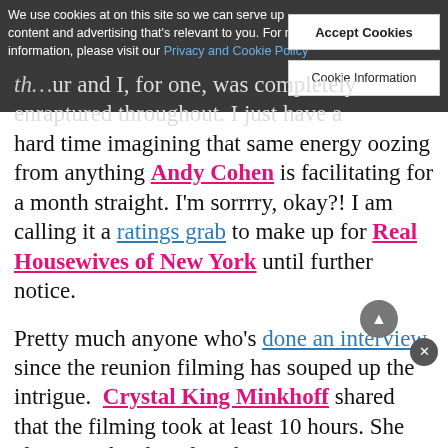We use cookies at on this site so we can serve up content and advertising that's relevant to you. For more information, please visit our Privacy and Cookie Policy
Accept Cookies
Cookie Information
and I, for one, was completely enraptured throughout. I just have a hard time imagining that same energy oozing from anything Andy Cohen is facilitating for a month straight. I'm sorrrry, okay?! I am calling it a ratings grab to make up for Real Housewives of New York until further notice.
Pretty much anyone who's done an interview since the reunion filming has souped up the intrigue. Crystal King Minkhoff shared that the filming took at least 10 hours. She also teased "a lot of explosive moments." I wonder what those will be. We know Andy calls out Erika Jayne's
i...